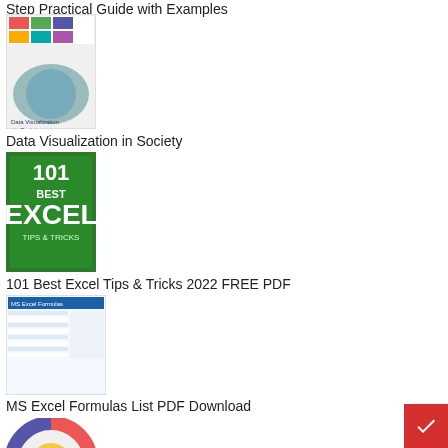Step Practical Guide with Examples
[Figure (illustration): Book cover: Data Visualization in Society]
Data Visualization in Society
[Figure (illustration): Book cover: 101 Best Excel Tips & Tricks]
101 Best Excel Tips & Tricks 2022 FREE PDF
[Figure (screenshot): MS Excel Formulas List PDF preview]
MS Excel Formulas List PDF Download
[Figure (infographic): Circular diagram showing numbered sections for Excel ALT key shortcuts]
80+ Excel Shortcuts with ALT Key || Best Hotkey of Keyboard Shortcuts
[Figure (photo): Dark green microscope or science image (partially visible)]